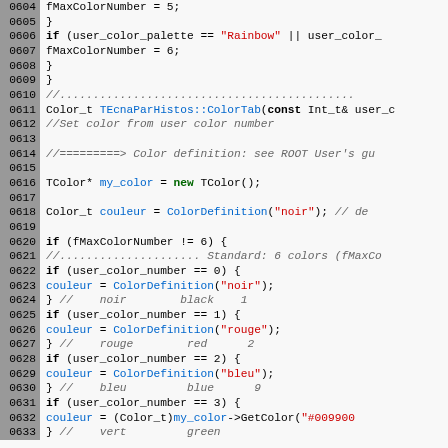[Figure (screenshot): Source code listing in C++ with syntax highlighting, lines 0604-0633. Shows color palette logic and ColorTab function definition with color assignments for noir, rouge, bleu, vert.]